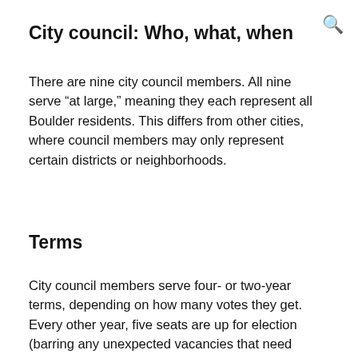City council: Who, what, when
There are nine city council members. All nine serve “at large,” meaning they each represent all Boulder residents. This differs from other cities, where council members may only represent certain districts or neighborhoods.
Terms
City council members serve four- or two-year terms, depending on how many votes they get. Every other year, five seats are up for election (barring any unexpected vacancies that need filling). The four candidates